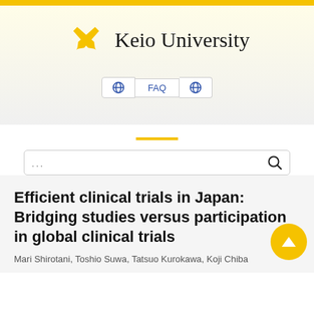[Figure (logo): Keio University logo with crossed golden quill pens and university name in serif font]
Keio University
[Figure (screenshot): Navigation buttons with globe icons and FAQ label, and a search box with ellipsis placeholder]
Efficient clinical trials in Japan: Bridging studies versus participation in global clinical trials
Mari Shirotani, Toshio Suwa, Tatsuo Kurokawa, Koji Chiba